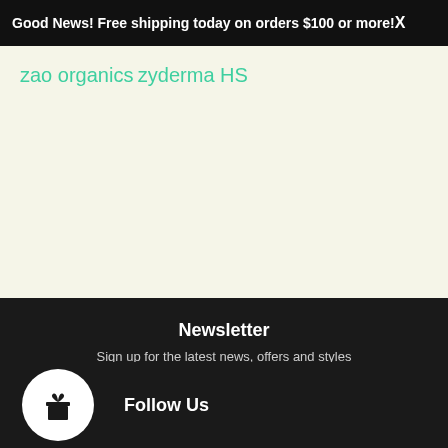Good News! Free shipping today on orders $100 or more! X
zao organics
zyderma HS
Newsletter
Sign up for the latest news, offers and styles
Your email | SUBSCRIBE
Follow Us